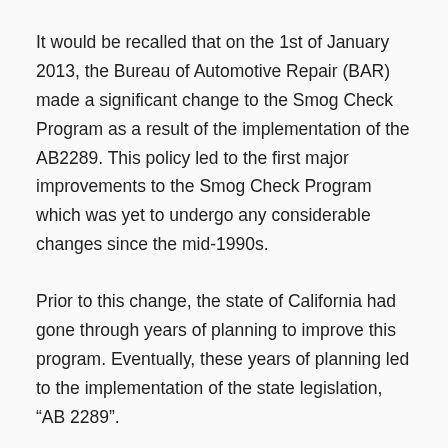It would be recalled that on the 1st of January 2013, the Bureau of Automotive Repair (BAR) made a significant change to the Smog Check Program as a result of the implementation of the AB2289. This policy led to the first major improvements to the Smog Check Program which was yet to undergo any considerable changes since the mid-1990s.
Prior to this change, the state of California had gone through years of planning to improve this program. Eventually, these years of planning led to the implementation of the state legislation, “AB 2289”.